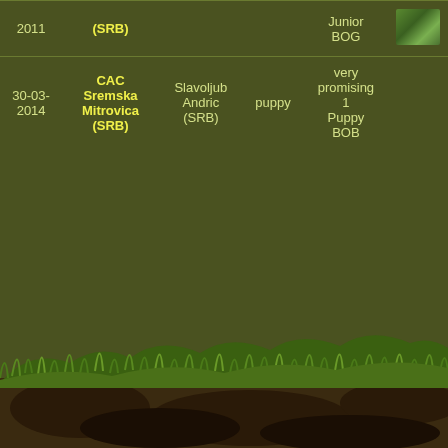| Date | Show | Judge | Class | Result | Photo |
| --- | --- | --- | --- | --- | --- |
| 2011 (partial) | (SRB) |  |  | Junior BOG |  |
| 30-03-2014 | CAC Sremska Mitrovica (SRB) | Slavoljub Andric (SRB) | puppy | very promising 1 Puppy BOB |  |
[Figure (photo): Grass and soil landscape background at bottom of page]